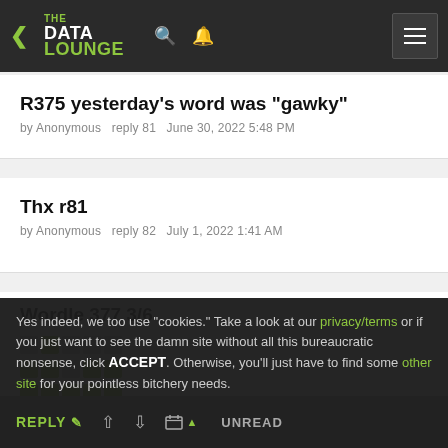THE DATA LOUNGE — navigation header with back arrow, search, notification, and menu icons
R375 yesterday's word was "gawky"
by Anonymous   reply 81   June 30, 2022 5:48 PM
Thx r81
by Anonymous   reply 82   July 1, 2022 1:41 AM
Wordle 377 3/6
Yes indeed, we too use "cookies." Take a look at our privacy/terms or if you just want to see the damn site without all this bureaucratic nonsense, click ACCEPT. Otherwise, you'll just have to find some other site for your pointless bitchery needs.
REPLY  ↑  ↓  calendar  UNREAD